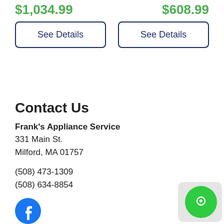$1,034.99
$608.99
See Details
See Details
Contact Us
Frank's Appliance Service
331 Main St.
Milford, MA 01757
(508) 473-1309
(508) 634-8854
[Figure (logo): Facebook logo icon - blue circle with white F]
Customer Service
Contact Us